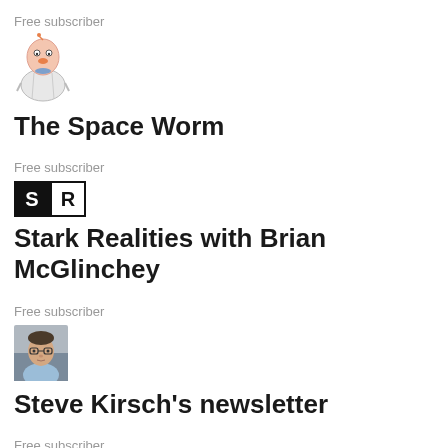Free subscriber
[Figure (illustration): The Space Worm newsletter logo: a cartoon worm character wearing a lab coat]
The Space Worm
Free subscriber
[Figure (logo): Stark Realities logo: two squares, one black with white S, one white with black R]
Stark Realities with Brian McGlinchey
Free subscriber
[Figure (photo): Photo of Steve Kirsch: middle-aged man with glasses in a light blue shirt]
Steve Kirsch's newsletter
Free subscriber